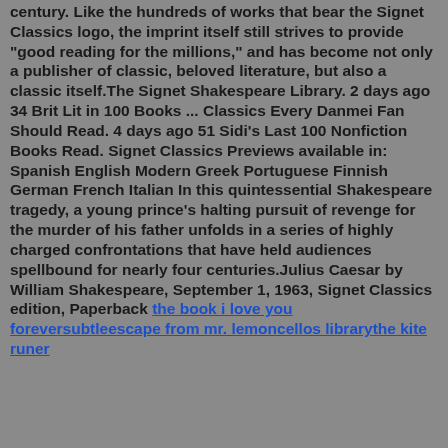century. Like the hundreds of works that bear the Signet Classics logo, the imprint itself still strives to provide "good reading for the millions," and has become not only a publisher of classic, beloved literature, but also a classic itself.The Signet Shakespeare Library. 2 days ago 34 Brit Lit in 100 Books ... Classics Every Danmei Fan Should Read. 4 days ago 51 Sidi's Last 100 Nonfiction Books Read. Signet Classics Previews available in: Spanish English Modern Greek Portuguese Finnish German French Italian In this quintessential Shakespeare tragedy, a young prince's halting pursuit of revenge for the murder of his father unfolds in a series of highly charged confrontations that have held audiences spellbound for nearly four centuries.Julius Caesar by William Shakespeare, September 1, 1963, Signet Classics edition, Paperback the book i love you foreversubtleescape from mr. lemoncellos librarythe kite runer